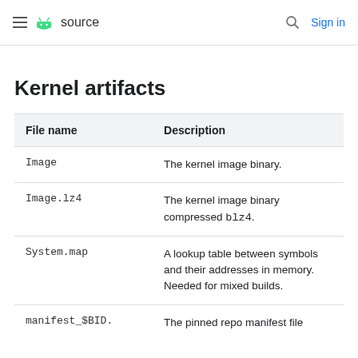≡ Android source  🔍 Sign in
Kernel artifacts
| File name | Description |
| --- | --- |
| Image | The kernel image binary. |
| Image.lz4 | The kernel image binary compressed blz4. |
| System.map | A lookup table between symbols and their addresses in memory. Needed for mixed builds. |
| manifest_$BID. | The pinned repo manifest file |